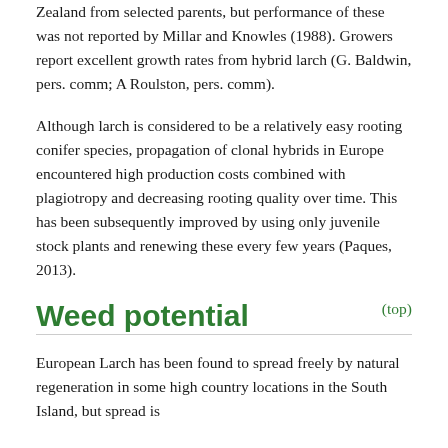Zealand from selected parents, but performance of these was not reported by Millar and Knowles (1988). Growers report excellent growth rates from hybrid larch (G. Baldwin, pers. comm; A Roulston, pers. comm).
Although larch is considered to be a relatively easy rooting conifer species, propagation of clonal hybrids in Europe encountered high production costs combined with plagiotropy and decreasing rooting quality over time. This has been subsequently improved by using only juvenile stock plants and renewing these every few years (Paques, 2013).
(top)
Weed potential
European Larch has been found to spread freely by natural regeneration in some high country locations in the South Island, but spread is